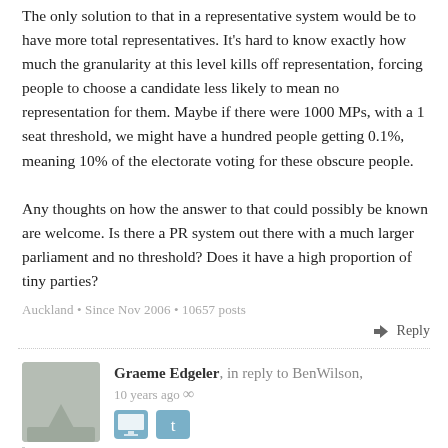The only solution to that in a representative system would be to have more total representatives. It's hard to know exactly how much the granularity at this level kills off representation, forcing people to choose a candidate less likely to mean no representation for them. Maybe if there were 1000 MPs, with a 1 seat threshold, we might have a hundred people getting 0.1%, meaning 10% of the electorate voting for these obscure people.

Any thoughts on how the answer to that could possibly be known are welcome. Is there a PR system out there with a much larger parliament and no threshold? Does it have a high proportion of tiny parties?
Auckland • Since Nov 2006 • 10657 posts
Reply
Graeme Edgeler, in reply to BenWilson, 10 years ago ∞
Is there a PR system out there with a much larger parliament and no threshold?